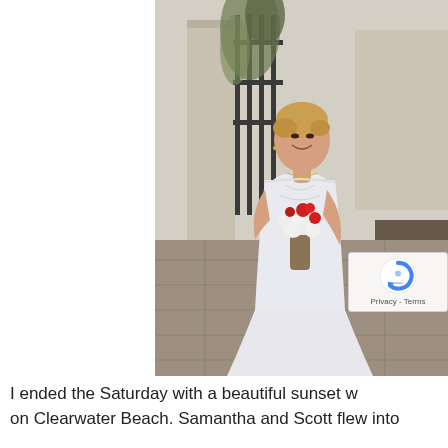[Figure (photo): A bride in a white strapless wedding gown holding a bouquet of red and white flowers, standing on a stone patio in front of a wall and iron gate with foliage in the background.]
I ended the Saturday with a beautiful sunset w on Clearwater Beach. Samantha and Scott flew into